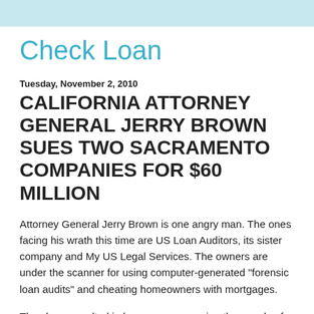Check Loan
Tuesday, November 2, 2010
CALIFORNIA ATTORNEY GENERAL JERRY BROWN SUES TWO SACRAMENTO COMPANIES FOR $60 MILLION
Attorney General Jerry Brown is one angry man. The ones facing his wrath this time are US Loan Auditors, its sister company and My US Legal Services. The owners are under the scanner for using computer-generated "forensic loan audits" and cheating homeowners with mortgages.
They have resulted in home owners paying thousands of dollars because of these “forensic loan audits. They have been doing this for a long time, faultily getting money out of people and bringing about this sort the corruption. Not to